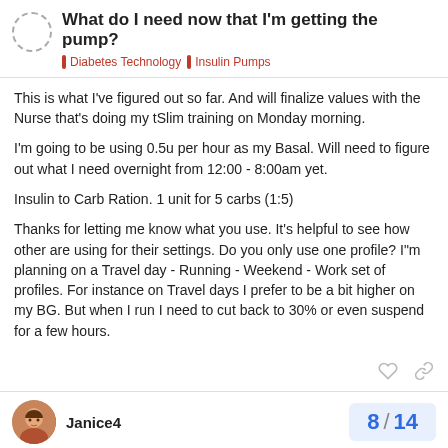What do I need now that I'm getting the pump? | Diabetes Technology | Insulin Pumps
This is what I've figured out so far. And will finalize values with the Nurse that's doing my tSlim training on Monday morning.
I'm going to be using 0.5u per hour as my Basal. Will need to figure out what I need overnight from 12:00 - 8:00am yet.
Insulin to Carb Ration. 1 unit for 5 carbs (1:5)
Thanks for letting me know what you use. It's helpful to see how other are using for their settings. Do you only use one profile? I"m planning on a Travel day - Running - Weekend - Work set of profiles. For instance on Travel days I prefer to be a bit higher on my BG. But when I run I need to cut back to 30% or even suspend for a few hours.
Janice4   8 / 14